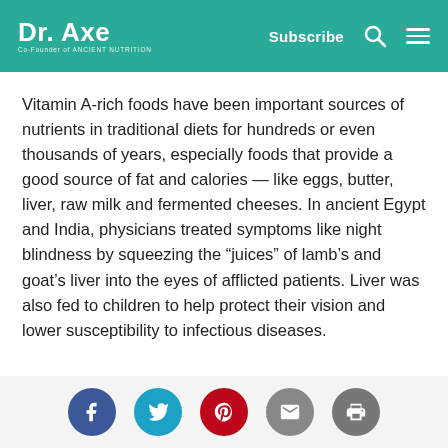Dr. Axe — Co-Founder of Ancient Nutrition | Subscribe
Vitamin A-rich foods have been important sources of nutrients in traditional diets for hundreds or even thousands of years, especially foods that provide a good source of fat and calories — like eggs, butter, liver, raw milk and fermented cheeses. In ancient Egypt and India, physicians treated symptoms like night blindness by squeezing the "juices" of lamb's and goat's liver into the eyes of afflicted patients. Liver was also fed to children to help protect their vision and lower susceptibility to infectious diseases.
Vitamin A deficiency may also be linked...
[Figure (other): Social sharing buttons: Facebook, Twitter, Pinterest, Email, Print]